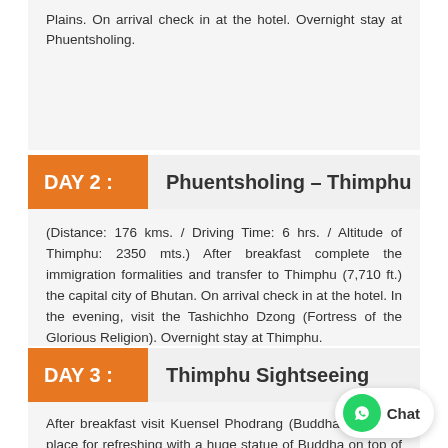Plains. On arrival check in at the hotel. Overnight stay at Phuentsholing.
DAY 2 : Phuentsholing – Thimphu
(Distance: 176 kms. / Driving Time: 6 hrs. / Altitude of Thimphu: 2350 mts.) After breakfast complete the immigration formalities and transfer to Thimphu (7,710 ft.) the capital city of Bhutan. On arrival check in at the hotel. In the evening, visit the Tashichho Dzong (Fortress of the Glorious Religion). Overnight stay at Thimphu.
DAY 3 : Thimphu Sightseeing
After breakfast visit Kuensel Phodrang (Buddha Statue) a place for refreshing with a huge statue of Buddha on top of the Kuensel Phodrang, National Memorial Chorten